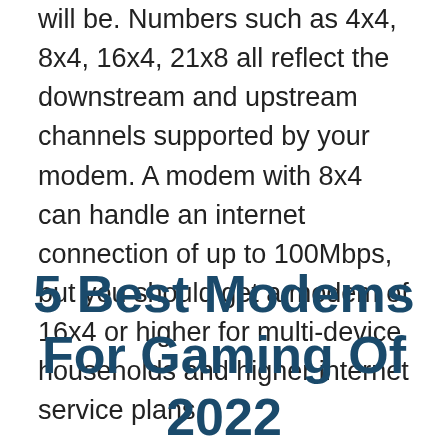will be. Numbers such as 4x4, 8x4, 16x4, 21x8 all reflect the downstream and upstream channels supported by your modem. A modem with 8x4 can handle an internet connection of up to 100Mbps, but you should get a modem of 16x4 or higher for multi-device households and higher internet service plans.
5 Best Modems For Gaming Of 2022